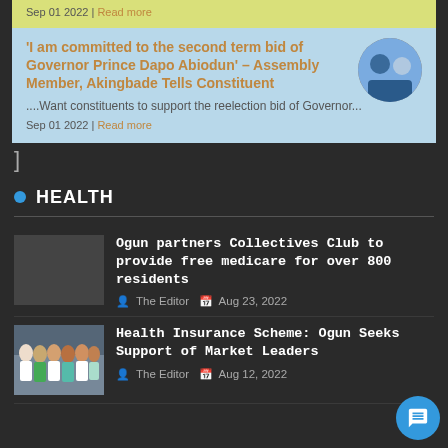Sep 01 2022 | Read more
'I am committed to the second term bid of Governor Prince Dapo Abiodun' – Assembly Member, Akingbade Tells Constituent
....Want constituents to support the reelection bid of Governor...
Sep 01 2022 | Read more
]
HEALTH
Ogun partners Collectives Club to provide free medicare for over 800 residents
The Editor   Aug 23, 2022
[Figure (photo): Health Insurance Scheme article thumbnail photo showing group of people in white and colorful clothing]
Health Insurance Scheme: Ogun Seeks Support of Market Leaders
The Editor   Aug 12, 2022